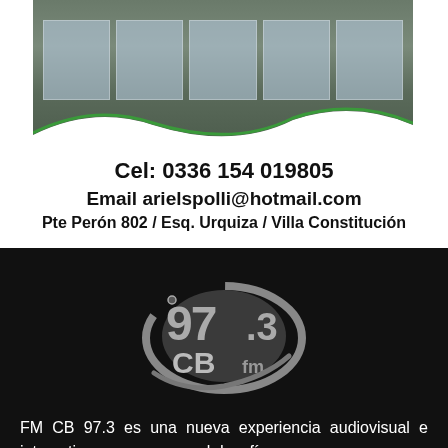[Figure (photo): Photo of a building storefront/commercial property exterior]
Cel: 0336 154 019805
Email arielspolli@hotmail.com
Pte Perón 802 / Esq. Urquiza / Villa Constitución
[Figure (logo): 97.3 CB fm radio station logo in grey tones on black background]
FM CB 97.3 es una nueva experiencia audiovisual e interactiva que nace con el desafío